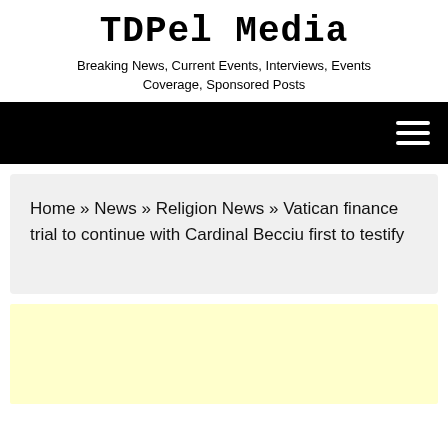TDPel Media
Breaking News, Current Events, Interviews, Events Coverage, Sponsored Posts
Navigation bar with hamburger menu
Home » News » Religion News » Vatican finance trial to continue with Cardinal Becciu first to testify
[Figure (other): Yellow advertisement banner placeholder]